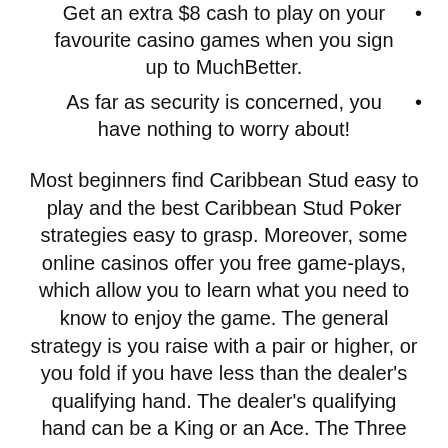Get an extra $8 cash to play on your favourite casino games when you sign up to MuchBetter.
As far as security is concerned, you have nothing to worry about!
Most beginners find Caribbean Stud easy to play and the best Caribbean Stud Poker strategies easy to grasp. Moreover, some online casinos offer you free game-plays, which allow you to learn what you need to know to enjoy the game. The general strategy is you raise with a pair or higher, or you fold if you have less than the dealer's qualifying hand. The dealer's qualifying hand can be a King or an Ace. The Three Card Poker game, which is based on